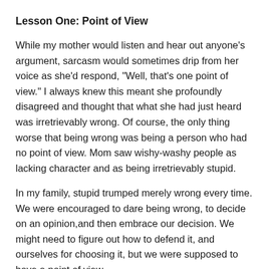Lesson One:  Point of View
While my mother would listen and hear out anyone’s argument, sarcasm would sometimes drip from her voice as she’d respond, “Well, that’s one point of view.”  I always knew this meant she profoundly disagreed and thought that what she had just heard was irretrievably wrong. Of course, the only thing worse that being wrong was being a person who had no point of view. Mom saw wishy-washy people as lacking character and as being irretrievably stupid.
In my family, stupid trumped merely wrong every time. We were encouraged to dare being wrong, to decide on an opinion,and then embrace our decision. We might need to figure out how to defend it, and ourselves for choosing it, but we were supposed to have a point of view.